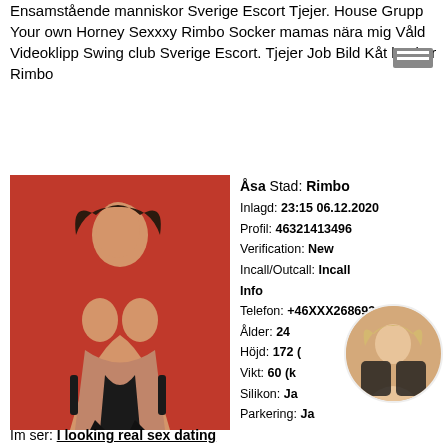Ensamstående manniskor Sverige Escort Tjejer. House Grupp Your own Horney Sexxxy Rimbo Socker mamas nära mig Våld Videoklipp Swing club Sverige Escort. Tjejer Job Bild Kåt hackor Rimbo
[Figure (photo): Woman posing against red background wearing black heels]
Åsa Stad: Rimbo
Inlagd: 23:15 06.12.2020
Profil: 46321413496
Verification: New
Incall/Outcall: Incall
Info
Telefon: +46XXX268693
Ålder: 24
Höjd: 172 (cm)
Vikt: 60 (kg)
Silikon: Ja
Parkering: Ja
[Figure (photo): Circular thumbnail photo of blonde woman]
Im ser: I looking real sex dating